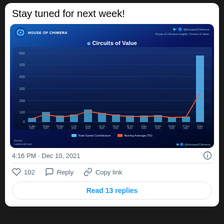Stay tuned for next week!
[Figure (line-chart): House of Chimera Insights chart showing Circuits of Value total social contributors (blue bars) and 7-day moving average (orange line) from Sep 2021 to Dec 2021]
4:16 PM · Dec 10, 2021
102  Reply  Copy link
Read 13 replies